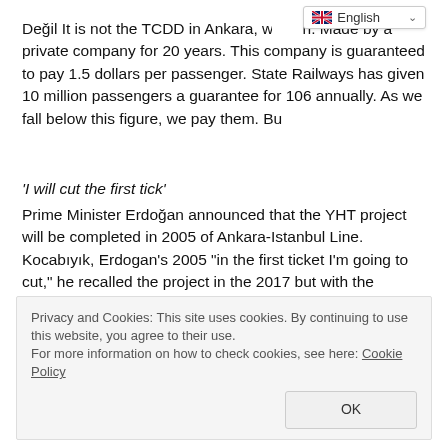Değil It is not the TCDD in Ankara, w...n. Made by a private company for 20 years. This company is guaranteed to pay 1.5 dollars per passenger. State Railways has given 10 million passengers a guarantee for 106 annually. As we fall below this figure, we pay them. Bu
'I will cut the first tick'
Prime Minister Erdoğan announced that the YHT project will be completed in 2005 of Ankara-Istanbul Line. Kocabıyık, Erdogan's 2005 "in the first ticket I'm going to cut," he recalled the project in the 2017 but with the shortcomings have been finished, he said. , The high-speed train line is still not OK, Genel the Secretary-General continued. After Bozüyük, the old
Privacy and Cookies: This site uses cookies. By continuing to use this website, you agree to their use.
For more information on how to check cookies, see here: Cookie Policy